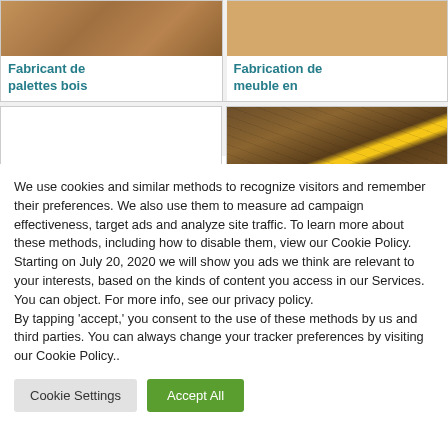[Figure (photo): Wood pallets or wooden surface image in top-left grid cell]
Fabricant de palettes bois
[Figure (photo): Furniture made of wood image in top-right grid cell]
Fabrication de meuble en
[Figure (photo): Wall covered with colorful items and bright light spot]
We use cookies and similar methods to recognize visitors and remember their preferences. We also use them to measure ad campaign effectiveness, target ads and analyze site traffic. To learn more about these methods, including how to disable them, view our Cookie Policy. Starting on July 20, 2020 we will show you ads we think are relevant to your interests, based on the kinds of content you access in our Services. You can object. For more info, see our privacy policy.
By tapping 'accept,' you consent to the use of these methods by us and third parties. You can always change your tracker preferences by visiting our Cookie Policy..
Cookie Settings
Accept All